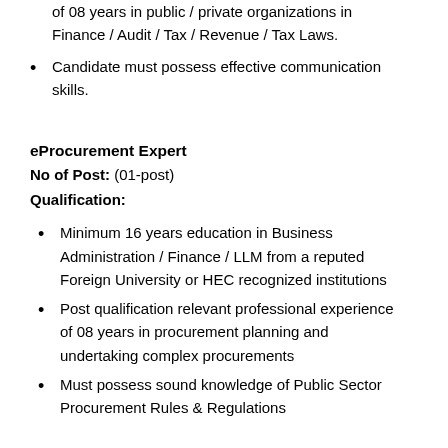of 08 years in public / private organizations in Finance / Audit / Tax / Revenue / Tax Laws.
Candidate must possess effective communication skills.
eProcurement Expert
No of Post: (01-post)
Qualification:
Minimum 16 years education in Business Administration / Finance / LLM from a reputed Foreign University or HEC recognized institutions
Post qualification relevant professional experience of 08 years in procurement planning and undertaking complex procurements
Must possess sound knowledge of Public Sector Procurement Rules & Regulations